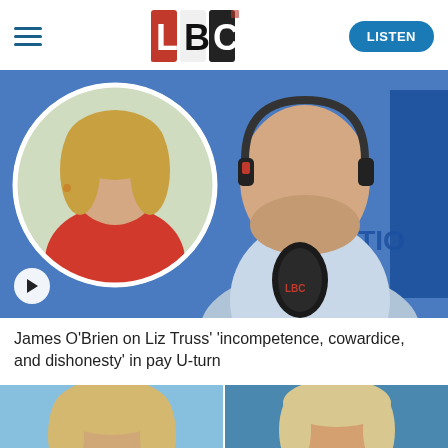LBC
[Figure (photo): James O'Brien at microphone with Liz Truss inset circle photo, LBC studio background]
James O'Brien on Liz Truss’ ‘incompetence, cowardice, and dishonesty’ in pay U-turn
[Figure (photo): Two thumbnail photos of women, likely showing Liz Truss related stories, against light blue backgrounds]